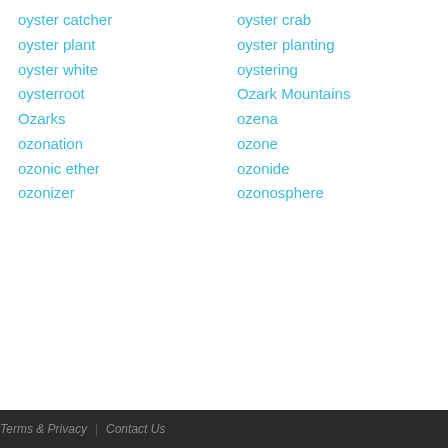oyster catcher
oyster crab
oyster plant
oyster planting
oyster white
oystering
oysterroot
Ozark Mountains
Ozarks
ozena
ozonation
ozone
ozonic ether
ozonide
ozonizer
ozonosphere
Phrases starting with the letter: A B C D E F G H I J K L M N O P Q R S T U
Terms & Privacy   Contact Us